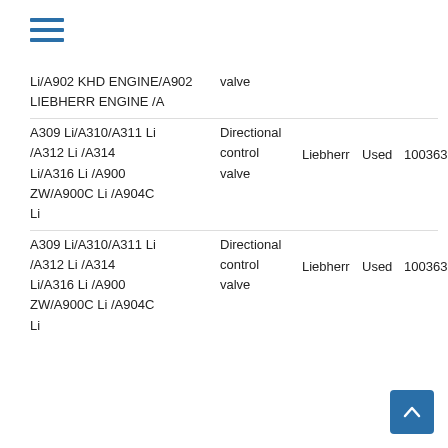[Figure (other): Hamburger menu icon with three horizontal blue lines]
Li/A902 KHD ENGINE/A902 LIEBHERR ENGINE /A | valve
A309 Li/A310/A311 Li /A312 Li /A314 Li/A316 Li /A900 ZW/A900C Li /A904C Li | Directional control valve | Liebherr | Used | 10036354
A309 Li/A310/A311 Li /A312 Li /A314 Li/A316 Li /A900 ZW/A900C Li /A904C Li | Directional control valve | Liebherr | Used | 10036354